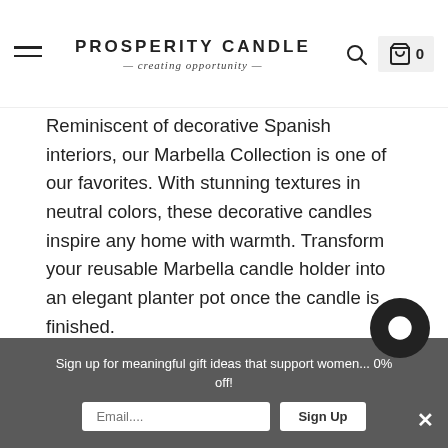PROSPERITY CANDLE — creating opportunity —
Reminiscent of decorative Spanish interiors, our Marbella Collection is one of our favorites. With stunning textures in neutral colors, these decorative candles inspire any home with warmth. Transform your reusable Marbella candle holder into an elegant planter pot once the candle is finished.
Each ceramic candle is handpoured to order, and arrives beautifully gift boxed with a story card about the woman artisan who made it. The reusable candle holder makes a perfect gift for the environmentally conscious. To send as a gift, simply add your message in the cart and we'll include a card. Rest assured, pricing information is not included in our packages. Sold individually.
Sign up for meaningful gift ideas that support women... 0% off!